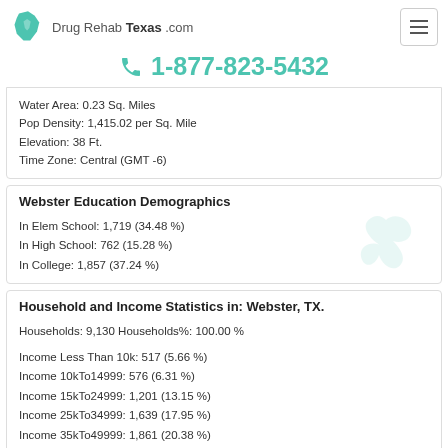Drug Rehab Texas .com
1-877-823-5432
Water Area: 0.23 Sq. Miles
Pop Density: 1,415.02 per Sq. Mile
Elevation: 38 Ft.
Time Zone: Central (GMT -6)
Webster Education Demographics
In Elem School: 1,719 (34.48 %)
In High School: 762 (15.28 %)
In College: 1,857 (37.24 %)
Household and Income Statistics in: Webster, TX.
Households: 9,130 Households%: 100.00 %

Income Less Than 10k: 517 (5.66 %)
Income 10kTo14999: 576 (6.31 %)
Income 15kTo24999: 1,201 (13.15 %)
Income 25kTo34999: 1,639 (17.95 %)
Income 35kTo49999: 1,861 (20.38 %)
Income 50kTo74999: 2,017 (22.09 %)